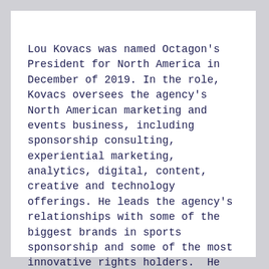Lou Kovacs was named Octagon's President for North America in December of 2019. In the role, Kovacs oversees the agency's North American marketing and events business, including sponsorship consulting, experiential marketing, analytics, digital, content, creative and technology offerings. He leads the agency's relationships with some of the biggest brands in sports sponsorship and some of the most innovative rights holders.  He also leads a team that produces award-winning golf and culinary events.